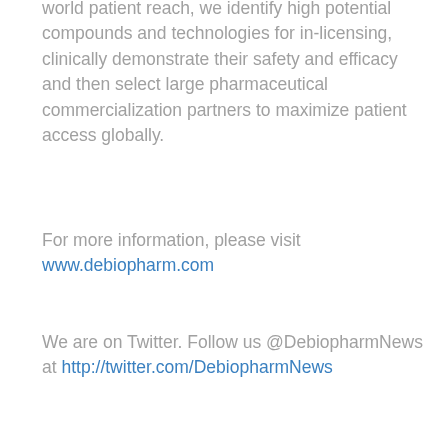world patient reach, we identify high potential compounds and technologies for in-licensing, clinically demonstrate their safety and efficacy and then select large pharmaceutical commercialization partners to maximize patient access globally.
For more information, please visit www.debiopharm.com
We are on Twitter. Follow us @DebiopharmNews at http://twitter.com/DebiopharmNews